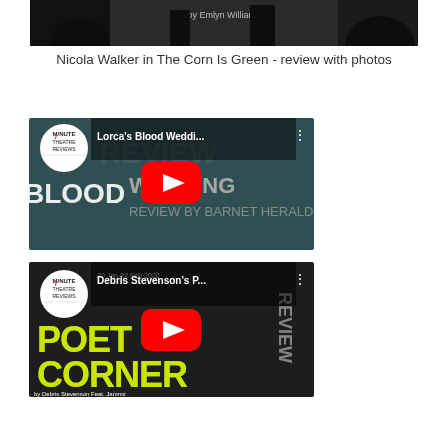[Figure (screenshot): Top portion of a theatrical production image for 'The Corn Is Green by Emlyn Williams', dark scene with actors]
Nicola Walker in The Corn Is Green - review with photos
[Figure (screenshot): YouTube video thumbnail for Lorca's Blood Wedding theatre review, Minute Theatre Reviews channel, with red play button]
[Figure (screenshot): YouTube video thumbnail for Debris Stevenson's Poet in the Corner theatre review, Minute Theatre Reviews channel, with red play button]